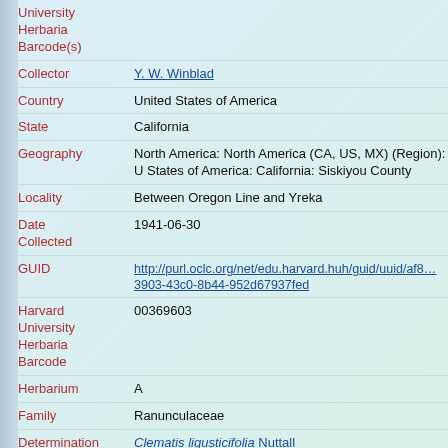University Herbaria Barcode(s)
Collector: Y. W. Winblad
Country: United States of America
State: California
Geography: North America: North America (CA, US, MX) (Region): United States of America: California: Siskiyou County
Locality: Between Oregon Line and Yreka
Date Collected: 1941-06-30
GUID: http://purl.oclc.org/net/edu.harvard.huh/guid/uuid/af8...3903-43c0-8b44-952d67937fed
Harvard University Herbaria Barcode: 00369603
Herbarium: A
Family: Ranunculaceae
Determination: Clematis ligusticifolia Nuttall
Determination Remarks: [is filed under name]
Family: Ranunculaceae